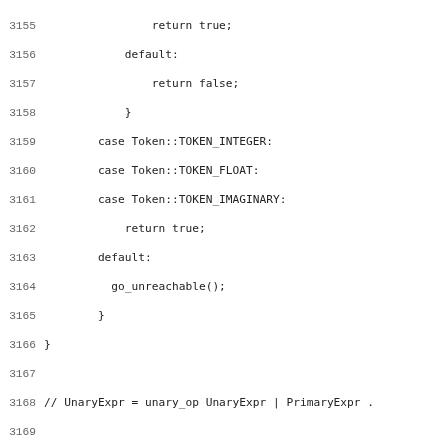Source code listing lines 3155–3186, showing C++ parser code including case statements for Token types, comments about UnaryExpr grammar, and Parse::unary_expr function signature.